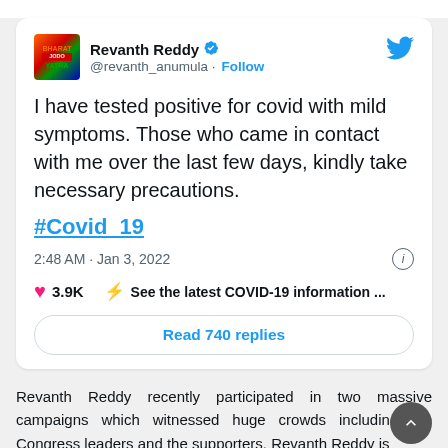[Figure (screenshot): Screenshot of a tweet by Revanth Reddy (@revanth_anumula) with verified badge, stating he tested positive for COVID with mild symptoms and asking contacts to take precautions, hashtag #Covid_19, posted at 2:48 AM Jan 3, 2022, with 3.9K likes and a 'Read 740 replies' button and COVID-19 information link.]
Revanth Reddy recently participated in two massive campaigns which witnessed huge crowds including the Congress leaders and the supporters. Revanth Reddy is